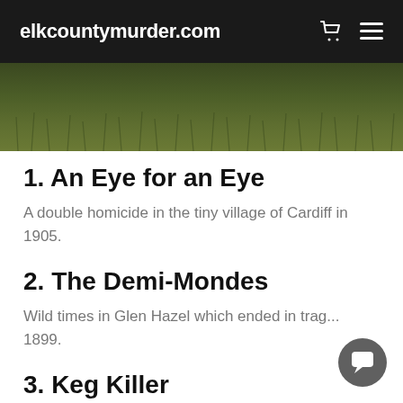elkcountymurder.com
[Figure (photo): Outdoor grassy field scene, dark green grass texture]
1. An Eye for an Eye
A double homicide in the tiny village of Cardiff in 1905.
2. The Demi-Mondes
Wild times in Glen Hazel which ended in trag... 1899.
3. Keg Killer